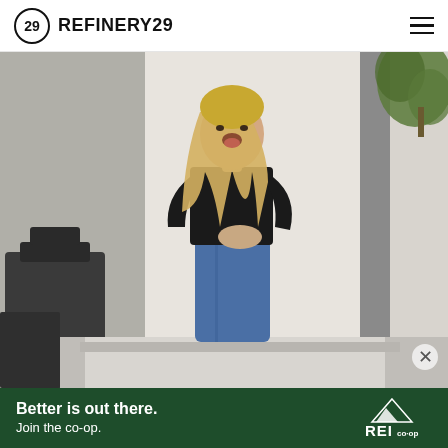REFINERY29
[Figure (photo): A blonde woman in a black long-sleeve top and blue skinny jeans stands with an excited expression, hands clasped, against a white/cream background. There are black chairs visible in the foreground and a green plant in the upper right corner.]
[Figure (logo): REI co-op logo in white on dark green background]
Better is out there. Join the co-op.